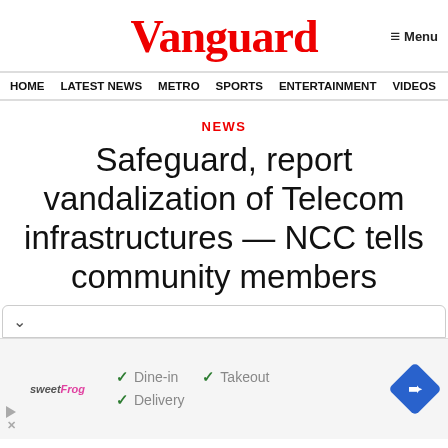Vanguard
≡ Menu
HOME  LATEST NEWS  METRO  SPORTS  ENTERTAINMENT  VIDEOS
NEWS
Safeguard, report vandalization of Telecom infrastructures — NCC tells community members
[Figure (screenshot): Advertisement for sweetFrog with checkmarks for Dine-in, Takeout, Delivery options and a blue navigation diamond icon]